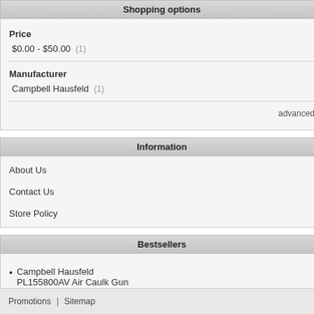Shopping options
Price
$0.00 - $50.00  (1)
Manufacturer
Campbell Hausfeld  (1)
advanced
Information
About Us
Contact Us
Store Policy
Bestsellers
Campbell Hausfeld PL155800AV Air Caulk Gun
Promotions  |  Sitemap